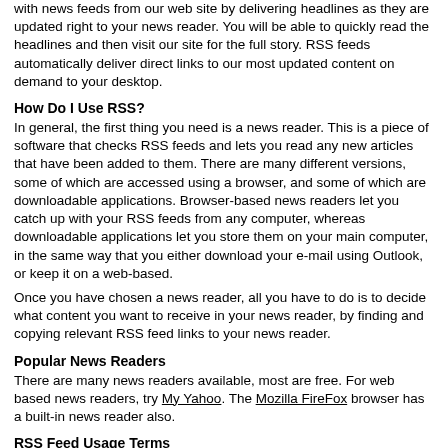with news feeds from our web site by delivering headlines as they are updated right to your news reader. You will be able to quickly read the headlines and then visit our site for the full story. RSS feeds automatically deliver direct links to our most updated content on demand to your desktop.
How Do I Use RSS?
In general, the first thing you need is a news reader. This is a piece of software that checks RSS feeds and lets you read any new articles that have been added to them. There are many different versions, some of which are accessed using a browser, and some of which are downloadable applications. Browser-based news readers let you catch up with your RSS feeds from any computer, whereas downloadable applications let you store them on your main computer, in the same way that you either download your e-mail using Outlook, or keep it on a web-based.
Once you have chosen a news reader, all you have to do is to decide what content you want to receive in your news reader, by finding and copying relevant RSS feed links to your news reader.
Popular News Readers
There are many news readers available, most are free. For web based news readers, try My Yahoo. The Mozilla FireFox browser has a built-in news reader also.
RSS Feed Usage Terms
If you run your own website, you can use RSS feeds to display the latest headlines from our website on your site. However, we do require that the proper format and attribution is used when nteu103.org news content appears. The attribution text should read "nteu103.org News" or "From nteu103.org" as appropriate. You may not alter the news feeds in any way. We reserve the right to prevent the distribution of News content.